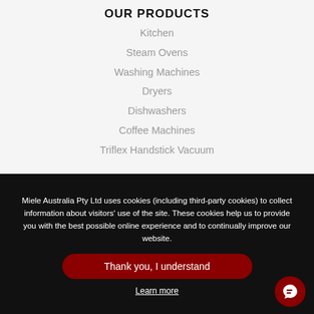OUR PRODUCTS
Kitchen
Steam Ovens
Washing Machines
Dryers
Dishwashers
Coffee Machines
Triflex Handstick Vacuum
Miele Australia Pty Ltd uses cookies (including third-party cookies) to collect information about visitors' use of the site. These cookies help us to provide you with the best possible online experience and to continually improve our website.
Thank you, I understand
Learn more